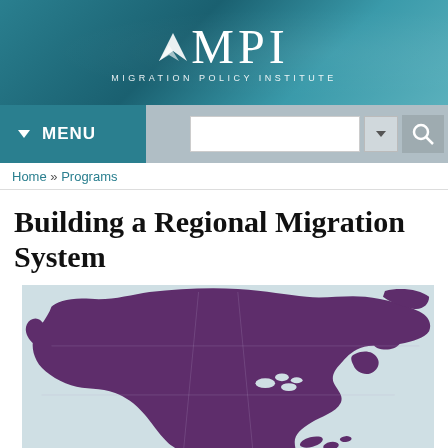[Figure (logo): MPI Migration Policy Institute logo with white text on teal/blue-green world map background header banner]
[Figure (screenshot): Navigation bar with MENU button (teal) on left and search box with dropdown and magnifying glass icon on right, on grey background]
Home » Programs
Building a Regional Migration System
[Figure (map): Purple silhouette map of North America (Canada, USA, Mexico) on light blue-grey background]